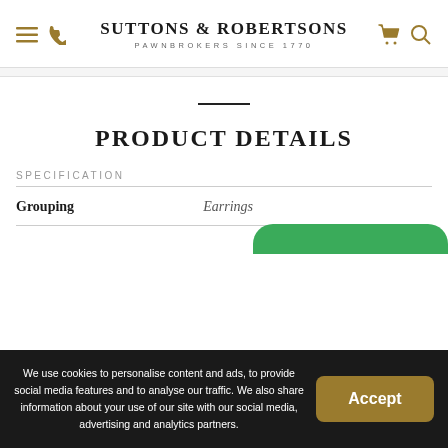Suttons & Robertsons — Pawnbrokers Since 1770
PRODUCT DETAILS
SPECIFICATION
|  |  |
| --- | --- |
| Grouping | Earrings |
We use cookies to personalise content and ads, to provide social media features and to analyse our traffic. We also share information about your use of our site with our social media, advertising and analytics partners.